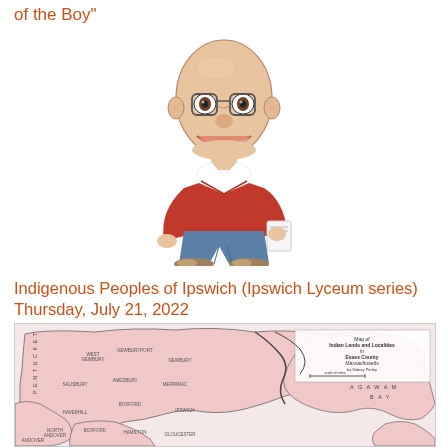of the Boy"
[Figure (illustration): Caricature illustration of a bald man with glasses, wearing a red sweater and jeans, holding papers, smiling broadly.]
Indigenous Peoples of Ipswich (Ipswich Lyceum series) Thursday, July 21, 2022
[Figure (map): Map of Indian Lands and Localities in Essex County Massachusetts by Sidney Perley. Shows regions including PENTUCKET, AGAWAM BAY, and various labeled areas with pink shading and black boundary lines.]